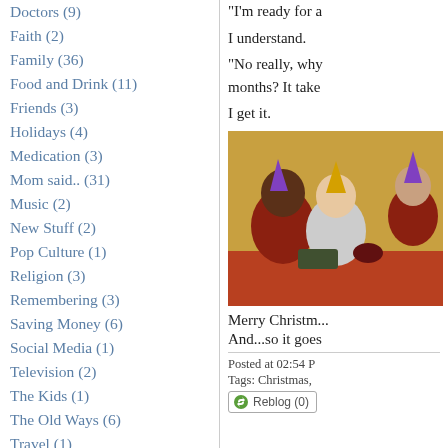Doctors (9)
Faith (2)
Family (36)
Food and Drink (11)
Friends (3)
Holidays (4)
Medication (3)
Mom said.. (31)
Music (2)
New Stuff (2)
Pop Culture (1)
Religion (3)
Remembering (3)
Saving Money (6)
Social Media (1)
Television (2)
The Kids (1)
The Old Ways (6)
Travel (1)
Your Mom (3)
"I'm ready for a
I understand.
"No really, why months? It take
I get it.
[Figure (photo): Photo of people at a table, possibly a Christmas gathering, wearing party hats in a warm-toned indoor setting.]
Merry Christm...
And...so it goes
Posted at 02:54 P
Tags: Christmas,
Reblog (0)